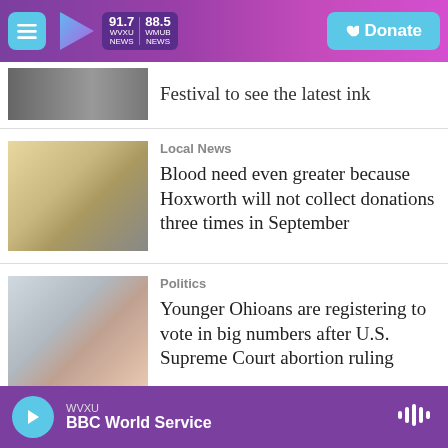WVXU 91.7 NEWS | WMUB 88.5 NEWS | Donate
Festival to see the latest ink
Local News
Blood need even greater because Hoxworth will not collect donations three times in September
Politics
Younger Ohioans are registering to vote in big numbers after U.S. Supreme Court abortion ruling
WVXU | BBC World Service